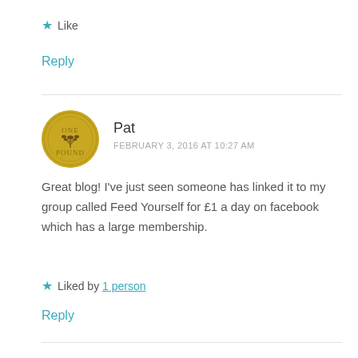★ Like
Reply
[Figure (photo): Round gold coin avatar with 'One Pound' text and plant engraving]
Pat
FEBRUARY 3, 2016 AT 10:27 AM
Great blog! I've just seen someone has linked it to my group called Feed Yourself for £1 a day on facebook which has a large membership.
★ Liked by 1 person
Reply